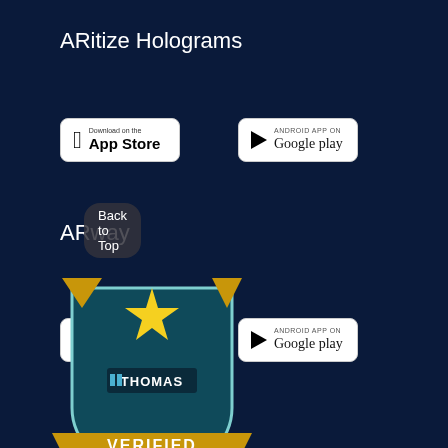ARitize Holograms
[Figure (logo): Download on the App Store button]
[Figure (logo): Android App on Google Play button]
ARway
[Figure (logo): Download on the App Store button]
[Figure (logo): Android App on Google Play button]
[Figure (logo): Thomas Verified Supplier badge]
Back to Top